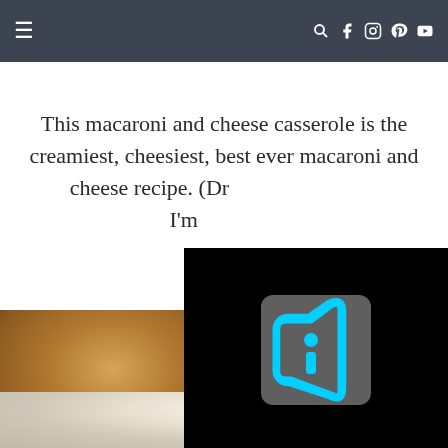≡ [navigation bar with search, facebook, instagram, pinterest, youtube icons]
This macaroni and cheese casserole is the creamiest, cheesiest, best ever macaroni and cheese recipe. (Dr... I'm...
[Figure (screenshot): Video player overlay with cyan/teal play button icon on dark background]
[Figure (photo): Close-up photo of baked macaroni and cheese casserole in a white dish, golden brown topping]
[Figure (photo): Close-up photo of macaroni and cheese, light colored, bottom of page]